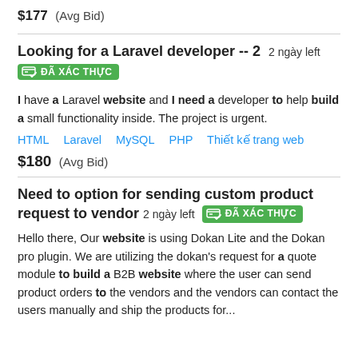$177 (Avg Bid)
Looking for a Laravel developer -- 2   2 ngày left
ĐÃ XÁC THỰC
I have a Laravel website and I need a developer to help build a small functionality inside. The project is urgent.
HTML   Laravel   MySQL   PHP   Thiết kế trang web
$180 (Avg Bid)
Need to option for sending custom product request to vendor   2 ngày left   ĐÃ XÁC THỰC
Hello there, Our website is using Dokan Lite and the Dokan pro plugin. We are utilizing the dokan's request for a quote module to build a B2B website where the user can send product orders to the vendors and the vendors can contact the users manually and ship the products for...